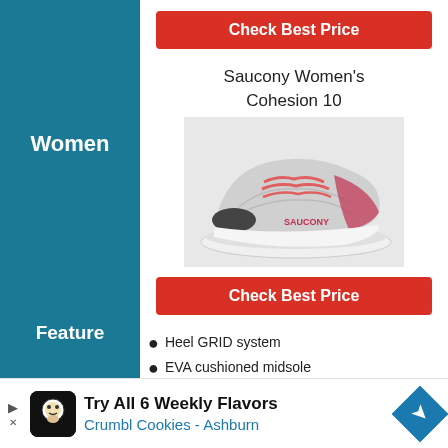[Figure (photo): Grey and blue running sneaker (top portion visible)]
Check Best Price
Saucony Women's Cohesion 10
[Figure (photo): Grey and red/pink Saucony Women's Cohesion 10 running shoe]
Check Best Price
Women
Heel GRID system
EVA cushioned midsole
Feature
Try All 6 Weekly Flavors
Crumbl Cookies - Ashburn